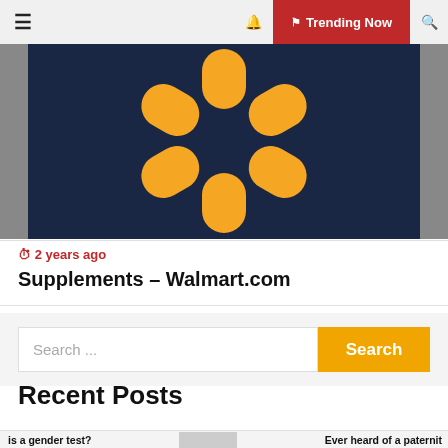☰  🔔  ⚑ Trending Now  🔍
[Figure (logo): Walmart spark logo on dark navy background with yellow spark/asterisk symbol]
🕐 2 years ago
Supplements – Walmart.com
Search ...
Recent Posts
is a gender test?   Ever heard of a paternit